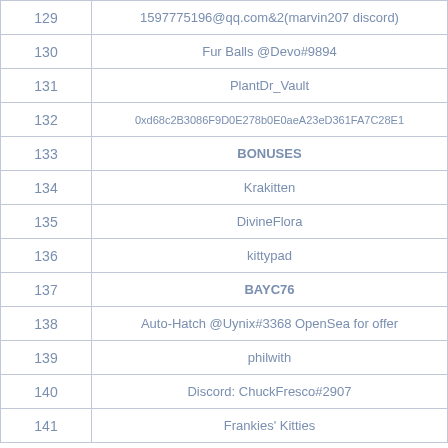| # | Entry |
| --- | --- |
| 129 | 1597775196@qq.com&amp;2(marvin207 discord) |
| 130 | Fur Balls @Devo#9894 |
| 131 | PlantDr_Vault |
| 132 | 0xd68c2B3086F9D0E278b0E0aeA23eD361FA7C28E1 |
| 133 | BONUSES |
| 134 | Krakitten |
| 135 | DivineFlora |
| 136 | kittypad |
| 137 | BAYC76 |
| 138 | Auto-Hatch @Uynix#3368 OpenSea for offer |
| 139 | philwith |
| 140 | Discord: ChuckFresco#2907 |
| 141 | Frankies' Kitties |